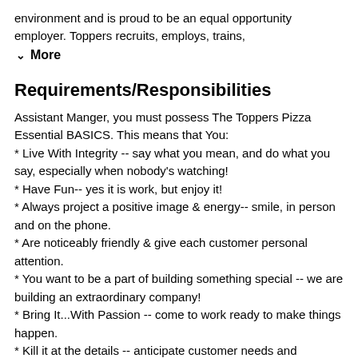environment and is proud to be an equal opportunity employer. Toppers recruits, employs, trains,
▼  More
Requirements/Responsibilities
Assistant Manger, you must possess The Toppers Pizza Essential BASICS. This means that You:
* Live With Integrity -- say what you mean, and do what you say, especially when nobody's watching!
* Have Fun-- yes it is work, but enjoy it!
* Always project a positive image & energy-- smile, in person and on the phone.
* Are noticeably friendly & give each customer personal attention.
* You want to be a part of building something special -- we are building an extraordinary company!
* Bring It...With Passion -- come to work ready to make things happen.
* Kill it at the details -- anticipate customer needs and